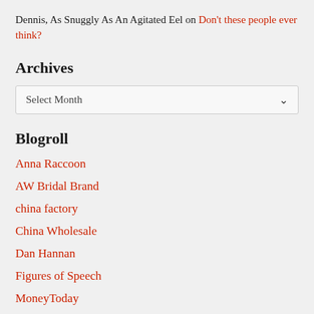Dennis, As Snuggly As An Agitated Eel on Don't these people ever think?
Archives
Select Month
Blogroll
Anna Raccoon
AW Bridal Brand
china factory
China Wholesale
Dan Hannan
Figures of Speech
MoneyToday